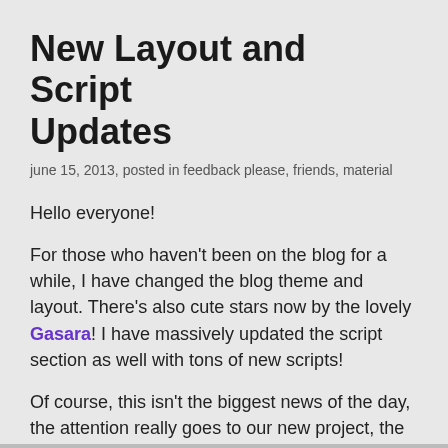New Layout and Script Updates
june 15, 2013, posted in feedback please, friends, material
Hello everyone!
For those who haven't been on the blog for a while, I have changed the blog theme and layout. There's also cute stars now by the lovely Gasara! I have massively updated the script section as well with tons of new scripts!
Of course, this isn't the biggest news of the day, the attention really goes to our new project, the Luna Engine. How about checking it out and leave us a comment?